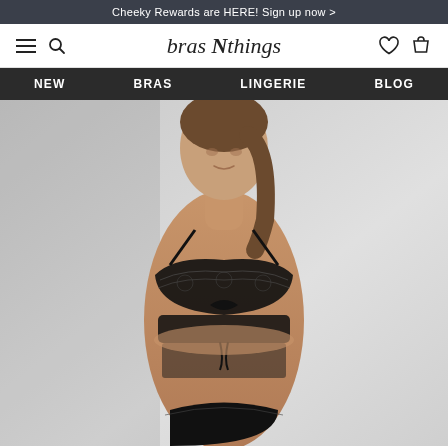Cheeky Rewards are HERE! Sign up now >
[Figure (logo): bras N things logo in italic serif font]
NEW
BRAS
LINGERIE
BLOG
[Figure (photo): Female model wearing black lace lingerie set including a bra with lace cups and matching bottoms, posed against a light grey background]